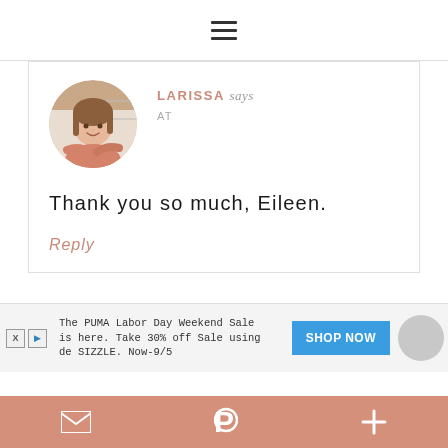≡
[Figure (photo): Circular avatar photo of a smiling woman with long brown hair wearing a pink/coral top]
LARISSA says
AT
Thank you so much, Eileen.
Reply
The PUMA Labor Day Weekend Sale is here. Take 30% off Sale using de SIZZLE. Now-9/5
SHOP NOW
✉ Pinterest +